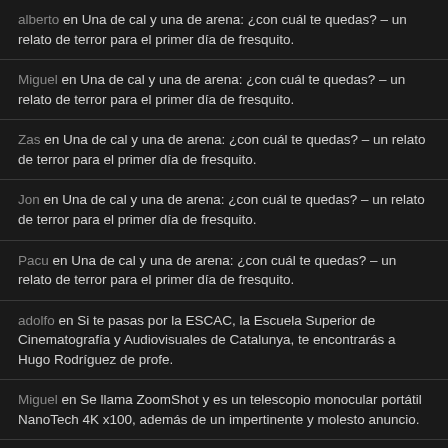alberto en Una de cal y una de arena: ¿con cuál te quedas? – un relato de terror para el primer día de fresquito.
Miguel en Una de cal y una de arena: ¿con cuál te quedas? – un relato de terror para el primer día de fresquito.
Zas en Una de cal y una de arena: ¿con cuál te quedas? – un relato de terror para el primer día de fresquito.
Jon en Una de cal y una de arena: ¿con cuál te quedas? – un relato de terror para el primer día de fresquito.
Pacu en Una de cal y una de arena: ¿con cuál te quedas? – un relato de terror para el primer día de fresquito.
adolfo en Si te pasas por la ESCAC, la Escuela Superior de Cinematografía y Audiovisuales de Catalunya, te encontrarás a Hugo Rodríguez de profe.
Miguel en Se llama ZoomShot y es un telescopio monocular portátil NanoTech 4K x100, además de un impertinente y molesto anuncio.